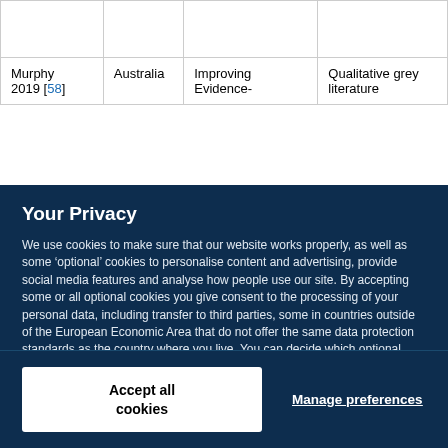|  |  |  |  |
| Murphy 2019 [58] | Australia | Improving Evidence- | Qualitative grey literature |
Your Privacy
We use cookies to make sure that our website works properly, as well as some ‘optional’ cookies to personalise content and advertising, provide social media features and analyse how people use our site. By accepting some or all optional cookies you give consent to the processing of your personal data, including transfer to third parties, some in countries outside of the European Economic Area that do not offer the same data protection standards as the country where you live. You can decide which optional cookies to accept by clicking on ‘Manage Settings’, where you can also find more information about how your personal data is processed. Further information can be found in our privacy policy.
Accept all cookies
Manage preferences